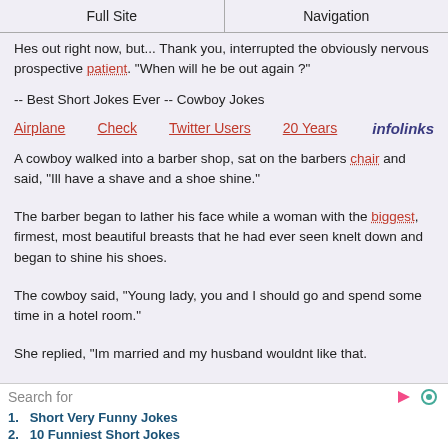Full Site | Navigation
Hes out right now, but... Thank you, interrupted the obviously nervous prospective patient. "When will he be out again ?"
-- Best Short Jokes Ever -- Cowboy Jokes
[Figure (infographic): Ad links row: Airplane, Check, Twitter Users, 20 Years, infolinks]
A cowboy walked into a barber shop, sat on the barbers chair and said, "Ill have a shave and a shoe shine."
The barber began to lather his face while a woman with the biggest, firmest, most beautiful breasts that he had ever seen knelt down and began to shine his shoes.
The cowboy said, "Young lady, you and I should go and spend some time in a hotel room."
She replied, "Im married and my husband wouldnt like that.
The cowboy said, "Tell him your working overtime and Ill pay you the diff..."
Search for
1. Short Very Funny Jokes
2. 10 Funniest Short Jokes